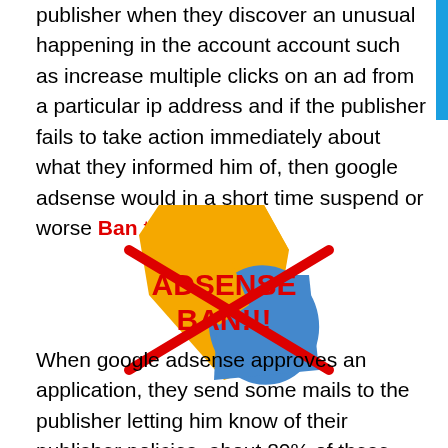publisher when they discover an unusual happening in the account account such as increase multiple clicks on an ad from a particular ip address and if the publisher fails to take action immediately about what they informed him of, then google adsense would in a short time suspend or worse Ban the account!.
[Figure (illustration): AdSense logo (yellow and blue swoosh/wing shape) with a large red X cross over it and red bold text 'ADSENSE BAN!!!' in the center]
When google adsense approves an application, they send some mails to the publisher letting him know of their publisher policies, about 80% of these new publishers do not read these mails before